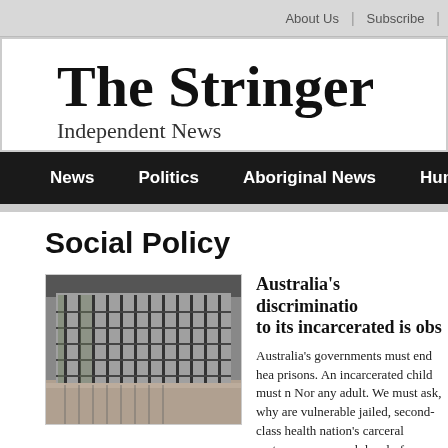About Us | Subscribe
The Stringer
Independent News
News | Politics | Aboriginal News | Human Rights | Health & Well
Social Policy
[Figure (photo): Prison exterior showing bars and corridors]
Australia's discrimination to its incarcerated is obs
Australia's governments must end hea prisons. An incarcerated child must n Nor any adult. We must ask, why are vulnerable jailed, second-class health nation's carceral system, we are unab level of Maslow's pyramid before...